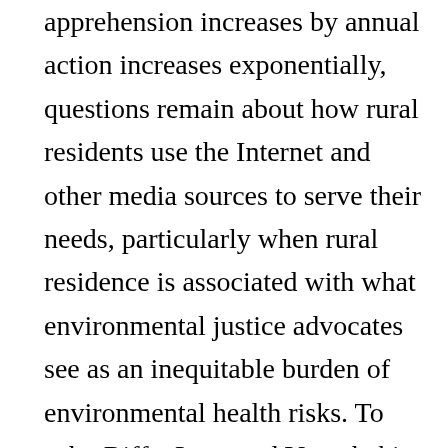apprehension increases by annual action increases exponentially, questions remain about how rural residents use the Internet and other media sources to serve their needs, particularly when rural residence is associated with what environmental justice advocates see as an inequitable burden of environmental health risks. To echo Riffe, Lacy and Varouhakis, whether basic Internet access and potential information access vary along social structural lines" remains an important question for study.23 Accordingly, the